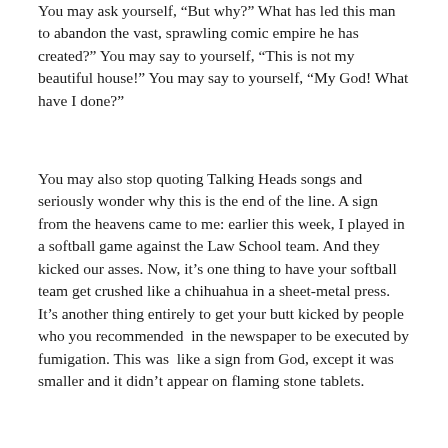You may ask yourself, "But why?  What has led this man to abandon the vast, sprawling comic empire he has created?"  You may say to yourself, "This is not my beautiful house!"  You may say to yourself, "My God!  What have I done?"
You may also stop quoting Talking Heads songs and seriously wonder why this is the end of the line.  A sign from the heavens came to me: earlier this week, I played in a softball game against the Law School team.  And they kicked our asses.  Now, it’s one thing to have your softball team get crushed like a chihuahua in a sheet-metal press.  It’s another thing entirely to get your butt kicked by people who you recommended  in the newspaper to be executed by fumigation.  This was  like a sign from God, except it was smaller and it didn’t appear on flaming stone tablets.